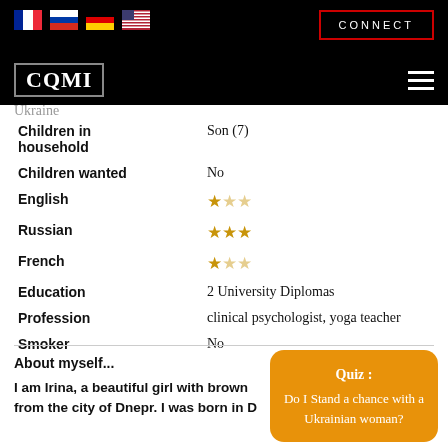CQMI header with flags and CONNECT button
Ukraine
| Field | Value |
| --- | --- |
| Children in household | Son (7) |
| Children wanted | No |
| English | ★★☆ |
| Russian | ★★★ |
| French | ★☆☆ |
| Education | 2 University Diplomas |
| Profession | clinical psychologist, yoga teacher |
| Smoker | No |
About myself...
I am Irina, a beautiful girl with brown … from the city of Dnepr. I was born in D…
[Figure (infographic): Quiz popup: 'Quiz : Do I Stand a chance with a Ukrainian woman?']